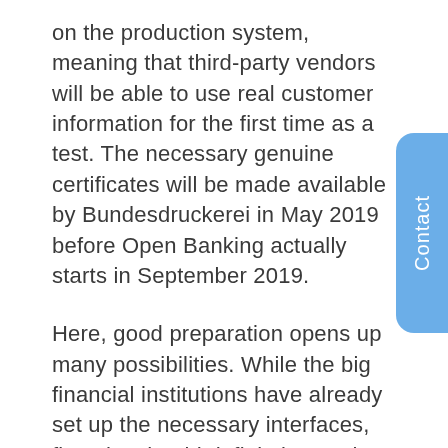on the production system, meaning that third-party vendors will be able to use real customer information for the first time as a test. The necessary genuine certificates will be made available by Bundesdruckerei in May 2019 before Open Banking actually starts in September 2019.
Here, good preparation opens up many possibilities. While the big financial institutions have already set up the necessary interfaces, fintechs should definitely use the statutory test phase and seek the appropriate licenses and certificates. This is the only way to